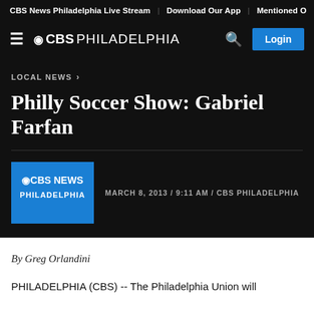CBS News Philadelphia Live Stream | Download Our App | Mentioned O
CBS PHILADELPHIA
LOCAL NEWS >
Philly Soccer Show: Gabriel Farfan
MARCH 8, 2013 / 9:11 AM / CBS PHILADELPHIA
By Greg Orlandini
PHILADELPHIA (CBS) -- The Philadelphia Union will